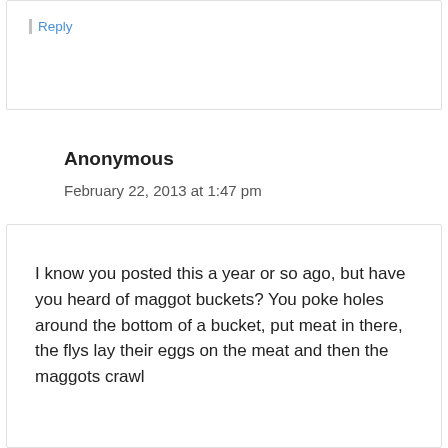Reply
Anonymous
February 22, 2013 at 1:47 pm
I know you posted this a year or so ago, but have you heard of maggot buckets? You poke holes around the bottom of a bucket, put meat in there, the flys lay their eggs on the meat and then the maggots crawl out of the holes and get eaten by the chickens. Just so o people